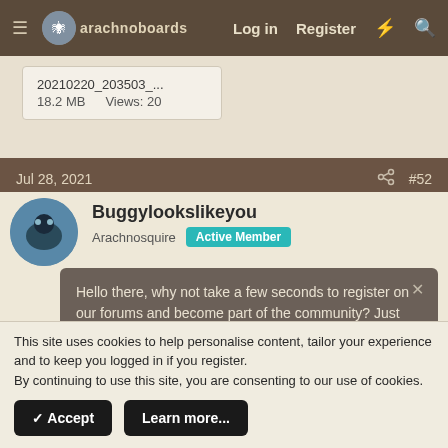arachnoboards  Log in  Register
20210220_203503_...  18.2 MB  Views: 20
Jul 28, 2021  #52
Buggylookslikeyou
Arachnosquire  Active Member
Hello there, why not take a few seconds to register on our forums and become part of the community? Just click here.
RxExNx said:
This is my Portia Fimbriata. Fringed Jumping Spider.
This site uses cookies to help personalise content, tailor your experience and to keep you logged in if you register.
By continuing to use this site, you are consenting to our use of cookies.
✓ Accept  Learn more...